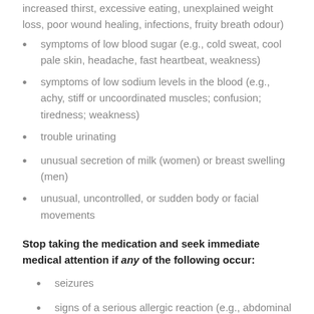increased thirst, excessive eating, unexplained weight loss, poor wound healing, infections, fruity breath odour)
symptoms of low blood sugar (e.g., cold sweat, cool pale skin, headache, fast heartbeat, weakness)
symptoms of low sodium levels in the blood (e.g., achy, stiff or uncoordinated muscles; confusion; tiredness; weakness)
trouble urinating
unusual secretion of milk (women) or breast swelling (men)
unusual, uncontrolled, or sudden body or facial movements
Stop taking the medication and seek immediate medical attention if any of the following occur:
seizures
signs of a serious allergic reaction (e.g., abdominal